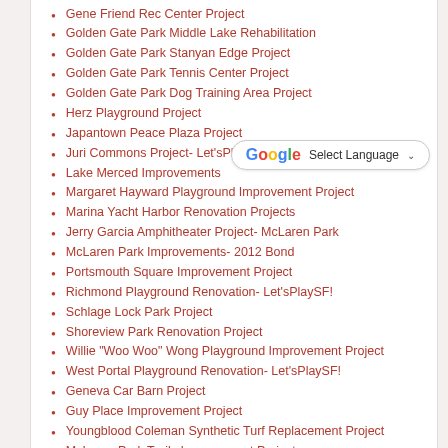Gene Friend Rec Center Project
Golden Gate Park Middle Lake Rehabilitation
Golden Gate Park Stanyan Edge Project
Golden Gate Park Tennis Center Project
Golden Gate Park Dog Training Area Project
Herz Playground Project
Japantown Peace Plaza Project
Juri Commons Project- Let'sPlaySF!
Lake Merced Improvements
Margaret Hayward Playground Improvement Project
Marina Yacht Harbor Renovation Projects
Jerry Garcia Amphitheater Project- McLaren Park
McLaren Park Improvements- 2012 Bond
Portsmouth Square Improvement Project
Richmond Playground Renovation- Let'sPlaySF!
Schlage Lock Park Project
Shoreview Park Renovation Project
Willie "Woo Woo" Wong Playground Improvement Project
West Portal Playground Renovation- Let'sPlaySF!
Geneva Car Barn Project
Guy Place Improvement Project
Youngblood Coleman Synthetic Turf Replacement Project
McLaren Park Trails Improvement Project